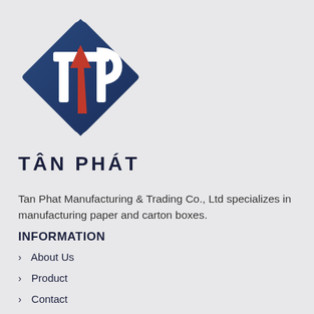[Figure (logo): Tan Phat company logo: a dark navy blue diamond/rhombus shape containing a stylized 'TP' monogram with a white arrow pointing up and a red stripe, forming an abstract letter combination]
TÂN PHÁT
Tan Phat Manufacturing & Trading Co., Ltd specializes in manufacturing paper and carton boxes.
INFORMATION
> About Us
> Product
> Contact